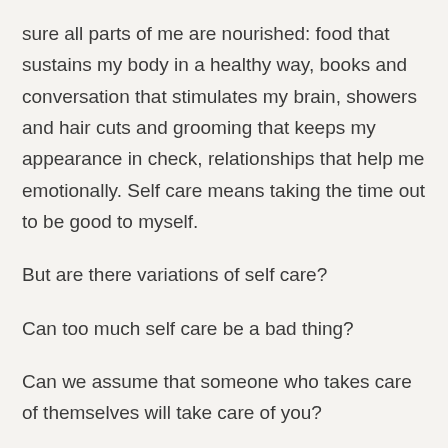sure all parts of me are nourished: food that sustains my body in a healthy way, books and conversation that stimulates my brain, showers and hair cuts and grooming that keeps my appearance in check, relationships that help me emotionally. Self care means taking the time out to be good to myself.
But are there variations of self care?
Can too much self care be a bad thing?
Can we assume that someone who takes care of themselves will take care of you?
Yes.